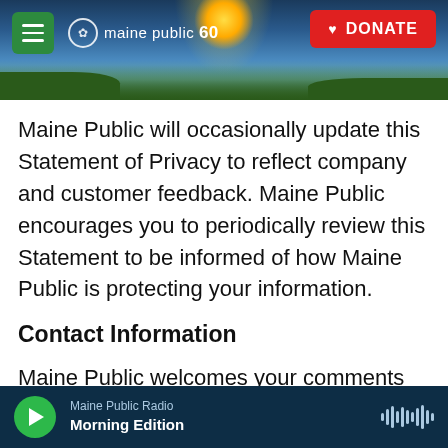[Figure (screenshot): Maine Public website header with scenic Maine landscape (sunset over hills and water), green hamburger menu button, Maine Public 60th anniversary logo in white, and red DONATE button]
Maine Public will occasionally update this Statement of Privacy to reflect company and customer feedback. Maine Public encourages you to periodically review this Statement to be informed of how Maine Public is protecting your information.
Contact Information
Maine Public welcomes your comments regarding this Statement of Privacy. If you believe that Maine Public has not adhered
Maine Public Radio  Morning Edition